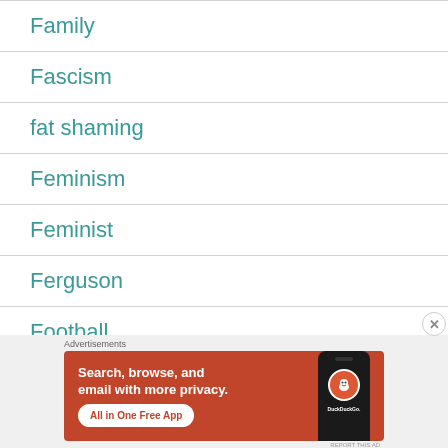Family
Fascism
fat shaming
Feminism
Feminist
Ferguson
Football
[Figure (infographic): DuckDuckGo advertisement banner: orange/red background with text 'Search, browse, and email with more privacy. All in One Free App' and a phone showing the DuckDuckGo logo.]